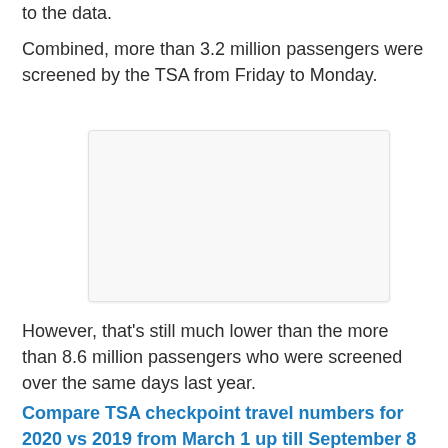to the data.
Combined, more than 3.2 million passengers were screened by the TSA from Friday to Monday.
[Figure (other): Empty white placeholder box with light gray border and slight shadow]
However, that's still much lower than the more than 8.6 million passengers who were screened over the same days last year.
Compare TSA checkpoint travel numbers for 2020 vs 2019 from March 1 up till September 8